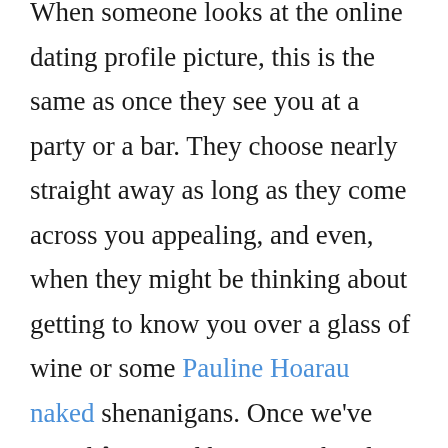When someone looks at the online dating profile picture, this is the same as once they see you at a party or a bar. They choose nearly straight away as long as they come across you appealing, and even, when they might be thinking about getting to know you over a glass of wine or some Pauline Hoarau naked shenanigans. Once we've stated â avoid being unethical, since should you decide look greatly different to your web self, absolutely practically no point in also satisfying the other person. We're not constantly the best assess of once we look good, thus perhaps ask a friend